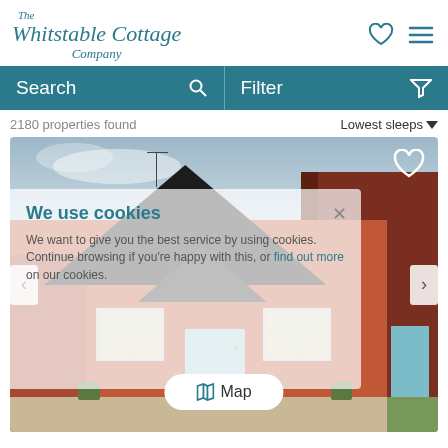[Figure (logo): The Whitstable Cottage Company logo in teal italic serif script]
Search | Filter
2180 properties found
Lowest sleeps ∨
[Figure (photo): Front exterior photo of a red brick cottage with dark peaked roof canopy over a pale blue front door, flanked by white-framed windows, with a dark gate to the right and lawn in front]
We use cookies
We want to give you the best service by using cookies. Continue browsing if you're happy with this, or find out more on our cookies.
Map